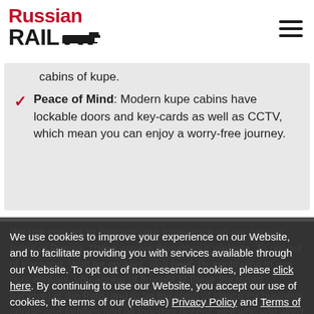[Figure (logo): Russian Rail logo with red 'Russian' text and black 'RAIL' text with train icon]
cabins of kupe.
Peace of Mind: Modern kupe cabins have lockable doors and key-cards as well as CCTV, which mean you can enjoy a worry-free journey.
We use cookies to improve your experience on our Website, and to facilitate providing you with services available through our Website. To opt out of non-essential cookies, please click here. By continuing to use our Website, you accept our use of cookies, the terms of our Privacy Policy and Terms of Service.
class of choice for business people and families and all-together decent, well who you won't usually find drinking till the wee hours or snooping through